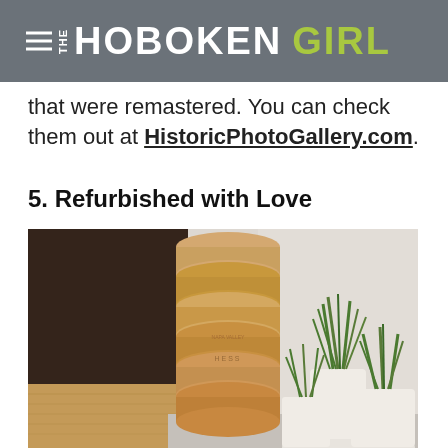THE HOBOKEN GIRL
that were remastered. You can check them out at HistoricPhotoGallery.com.
5. Refurbished with Love
[Figure (photo): A stack of wine corks arranged vertically like a tower, with white potted grass/plant arrangements in the background on the right side, hardwood floor visible on the left.]